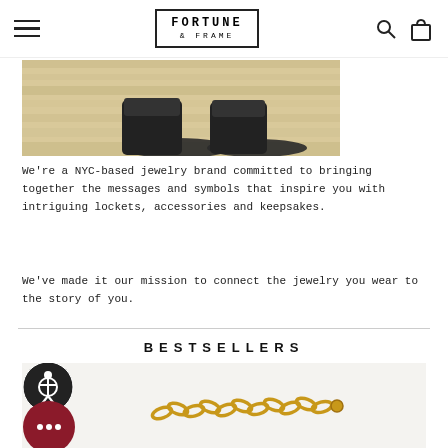FORTUNE & FRAME
[Figure (photo): Overhead photo of someone's feet in black boots on a light wood floor]
We're a NYC-based jewelry brand committed to bringing together the messages and symbols that inspire you with intriguing lockets, accessories and keepsakes.
We've made it our mission to connect the jewelry you wear to the story of you.
BESTSELLERS
[Figure (photo): Gold chain bracelet on a light grey background with accessibility and chat bubble overlay icons]